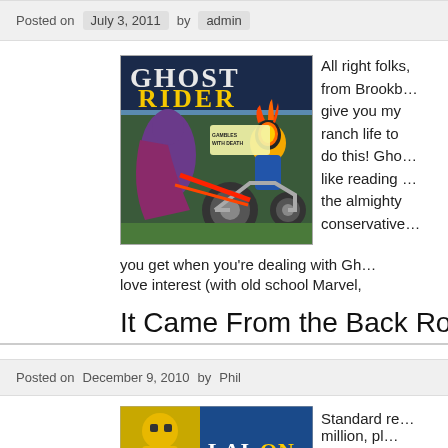Posted on  July 3, 2011  by  admin
[Figure (illustration): Ghost Rider comic book cover showing Ghost Rider on a motorcycle with flames, fighting another figure. Title reads 'GHOST RIDER'. Subtitle text visible: 'GAMBLES WITH DEATH']
All right folks, from Brookb… give you my ranch life to do this! Gho… like reading … the almighty … conservative… you get when you're dealing with Gh… love interest (with old school Marvel,
It Came From the Back Room
Posted on  December 9, 2010  by  Phil
[Figure (illustration): Comic book cover partially visible, appears to show a yellow/green character, possibly Wolverine or similar Marvel character]
Standard re… million, pl…